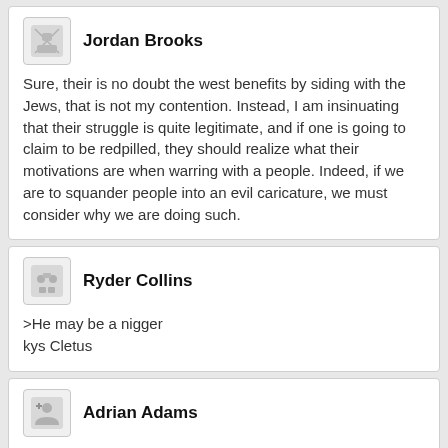Jordan Brooks
Sure, their is no doubt the west benefits by siding with the Jews, that is not my contention. Instead, I am insinuating that their struggle is quite legitimate, and if one is going to claim to be redpilled, they should realize what their motivations are when warring with a people. Indeed, if we are to squander people into an evil caricature, we must consider why we are doing such.
Ryder Collins
>He may be a nigger
kys Cletus
Adrian Adams
>Rational conservatism and Islam are worlds apart when it comes to moderation of beliefs.
While that's true, 'rational conservatism' isn't exactly Sup Forums traditionalism, that Prior to 2017, conservative...